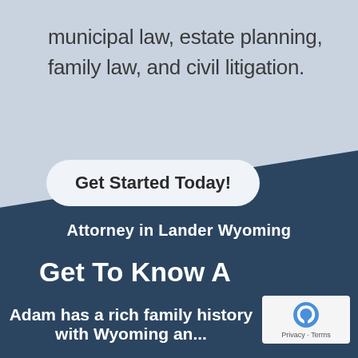municipal law, estate planning, family law, and civil litigation.
Get Started Today!
Attorney in Lander Wyoming
Get To Know A
Adam has a rich family history with Wyoming and...